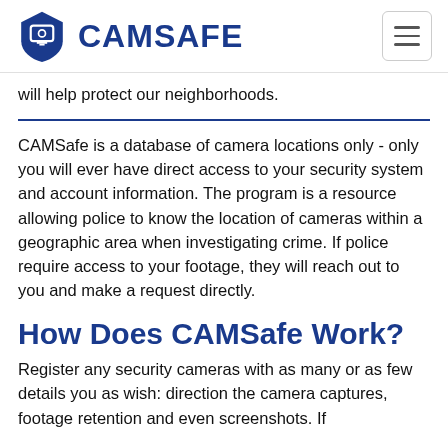CAMSAFE
will help protect our neighborhoods.
CAMSafe is a database of camera locations only - only you will ever have direct access to your security system and account information. The program is a resource allowing police to know the location of cameras within a geographic area when investigating crime. If police require access to your footage, they will reach out to you and make a request directly.
How Does CAMSafe Work?
Register any security cameras with as many or as few details you as wish: direction the camera captures, footage retention and even screenshots. If